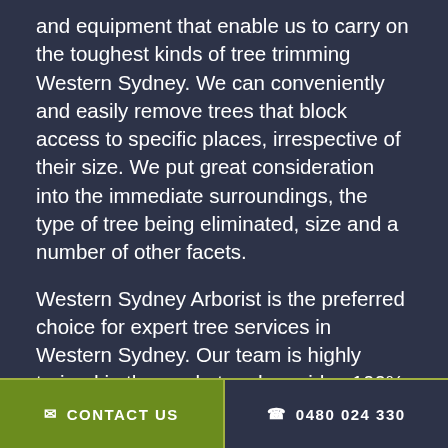and equipment that enable us to carry on the toughest kinds of tree trimming Western Sydney. We can conveniently and easily remove trees that block access to specific places, irrespective of their size. We put great consideration into the immediate surroundings, the type of tree being eliminated, size and a number of other facets.
Western Sydney Arborist is the preferred choice for expert tree services in Western Sydney. Our team is highly trained in the market and provides 100% customer satisfaction. Our support is popular all over the Western Sydney and surrounding areas.
Request a Quote
✉ CONTACT US   ✆ 0480 024 330